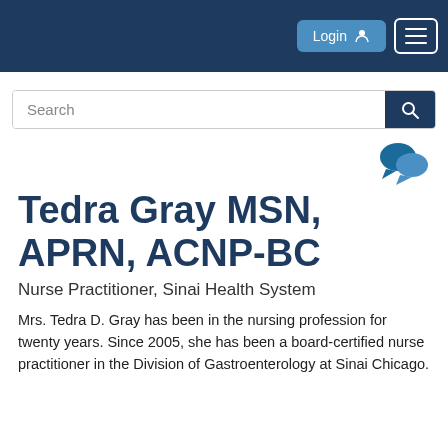Login  ☰
Search
[Figure (illustration): Two overlapping chat bubble icons in dark teal/blue color]
Tedra Gray MSN, APRN, ACNP-BC
Nurse Practitioner, Sinai Health System
Mrs. Tedra D. Gray has been in the nursing profession for twenty years. Since 2005, she has been a board-certified nurse practitioner in the Division of Gastroenterology at Sinai Chicago.